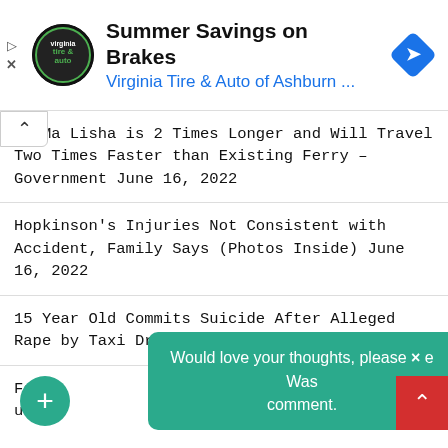[Figure (other): Advertisement banner: Virginia Tire & Auto logo, headline 'Summer Savings on Brakes', subtext 'Virginia Tire & Auto of Ashburn ...', blue navigation diamond icon on right, play and X icons on left]
MV Ma Lisha is 2 Times Longer and Will Travel Two Times Faster than Existing Ferry – Government June 16, 2022
Hopkinson's Injuries Not Consistent with Accident, Family Says (Photos Inside) June 16, 2022
15 Year Old Commits Suicide After Alleged Rape by Taxi Driver June 16, 2022
Fam[ily Says He Was u...]
Would love your thoughts, please × comment.